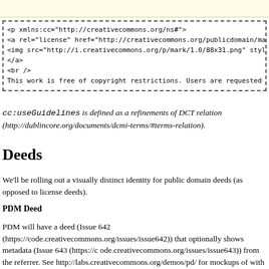[Figure (screenshot): Yellow header bar at the top of the page]
<p xmlns:cc="http://creativecommons.org/ns#">
<a rel="license" href="http://creativecommons.org/publicdomain/mark/1.
<img src="http://i.creativecommons.org/p/mark/1.0/88x31.png" style="bo
</a>
<br />
This work is free of copyright restrictions. Users are requested to ho
cc:useGuidelines is defined as a refinements of DCT relation (http://dublincore.org/documents/dcmi-terms/#terms-relation).
Deeds
We'll be rolling out a visually distinct identity for public domain deeds (as opposed to license deeds).
PDM Deed
PDM will have a deed (Issue 642 (https://code.creativecommons.org/issues/issue642)) that optionally shows metadata (Issue 643 (https://code.creativecommons.org/issues/issue643)) from the referrer. See http://labs.creativecommons.org/demos/pd/ for mockups of with and without.